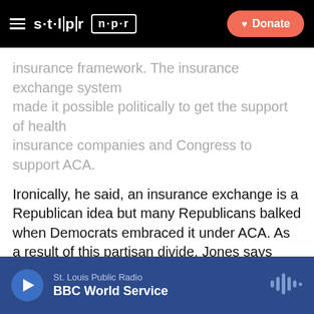STLPR NPR | Donate
insurance framework. The insurance exchange system made it possible politically to get the support of health insurance companies and Congress to support ACA.
Ironically, he said, an insurance exchange is a Republican idea but many Republicans balked when Democrats embraced it under ACA. As a result of this partisan divide, Jones says Republicans in several states, including Missouri, are now “engaged in scrimmages, a set of delaying actions. They can’t keep it (an exchange) from happening but they can slow this down.”
He argues that the November ballot initiative regarding
St. Louis Public Radio | BBC World Service